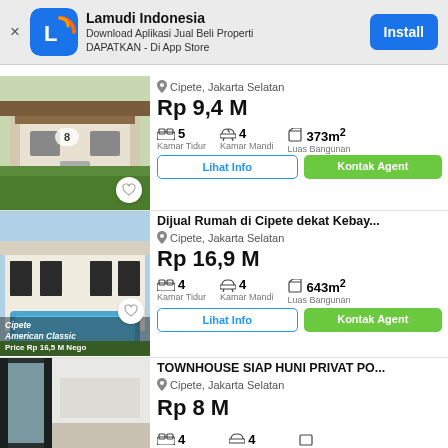[Figure (screenshot): Lamudi Indonesia app install banner with logo, description text, and Install button]
[Figure (photo): Photo of a house in Cipete, Jakarta Selatan with garden]
Cipete, Jakarta Selatan
Rp 9,4 M
5 Kamar Tidur, 4 Kamar Mandi, 373m² Luas Bangunan
[Figure (photo): Photo of house with swimming pool in Cipete American Classic]
Dijual Rumah di Cipete dekat Kebay...
Cipete, Jakarta Selatan
Rp 16,9 M
4 Kamar Tidur, 4 Kamar Mandi, 643m² Luas Bangunan
[Figure (photo): Photo of townhouse interior]
TOWNHOUSE SIAP HUNI PRIVAT PO...
Cipete, Jakarta Selatan
Rp 8 M